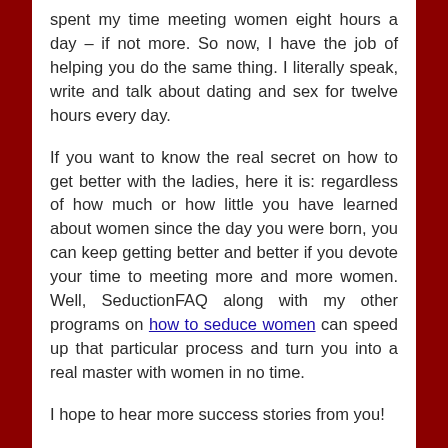spent my time meeting women eight hours a day – if not more. So now, I have the job of helping you do the same thing. I literally speak, write and talk about dating and sex for twelve hours every day.
If you want to know the real secret on how to get better with the ladies, here it is: regardless of how much or how little you have learned about women since the day you were born, you can keep getting better and better if you devote your time to meeting more and more women. Well, SeductionFAQ along with my other programs on how to seduce women can speed up that particular process and turn you into a real master with women in no time.
I hope to hear more success stories from you!